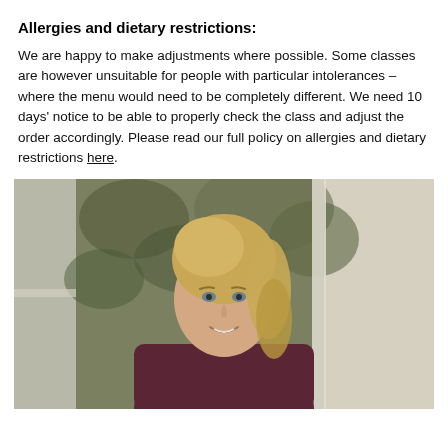Allergies and dietary restrictions:
We are happy to make adjustments where possible. Some classes are however unsuitable for people with particular intolerances – where the menu would need to be completely different. We need 10 days' notice to be able to properly check the class and adjust the order accordingly. Please read our full policy on allergies and dietary restrictions here.
[Figure (photo): A smiling blonde woman in a dark maroon top, seated near a large window with leafy greenery visible outside.]